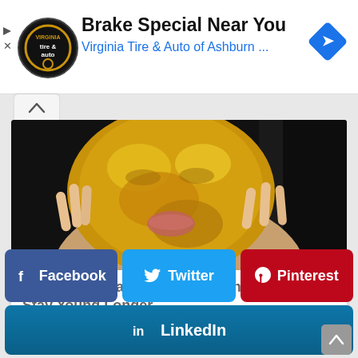[Figure (advertisement): Ad banner for Virginia Tire & Auto with logo, title 'Brake Special Near You', subtitle 'Virginia Tire & Auto of Ashburn ...', and blue diamond navigation icon]
Brake Special Near You
Virginia Tire & Auto of Ashburn ...
[Figure (photo): Woman with gold face mask applied, hands touching cheeks, dark background]
10 Secrets That Eastern Women Swear By To Stay Young Longer
Herbeauty
Facebook
Twitter
Pinterest
LinkedIn